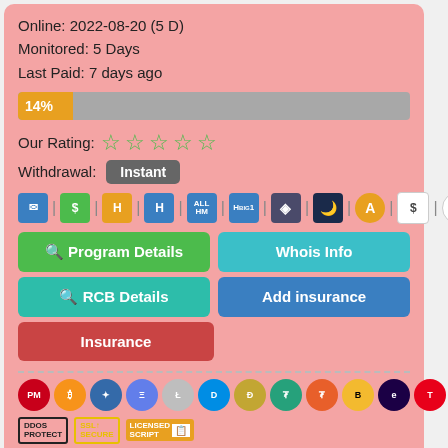Online: 2022-08-20 (5 D)
Monitored: 5 Days
Last Paid: 7 days ago
[Figure (infographic): Progress bar showing 14% fill in orange, remainder in grey]
[Figure (infographic): Star rating row: 5 empty/outline green stars labeled Our Rating]
Withdrawal: Instant
[Figure (infographic): Row of monitoring site icons: email, SH, H, H, ALL HM, H BIG 1, diamond, moon, A, S, A, circular arrow]
[Figure (infographic): Buttons: Program Details (green), Whois Info (cyan), RCB Details (teal), Add insurance (blue), Insurance (red)]
[Figure (infographic): Row of cryptocurrency icons: PM, Bitcoin, Ripple, Ethereum, Litecoin, Dash, Dogecoin, USDT, USDT (orange), Binance, EGLD, TRON, Binance, Stellar]
[Figure (infographic): Security badges: DDOS PROTECT, SSL SECURE, LICENSED SCRIPT]
Investment Plans: 102%-110% after 1 day, 110%-150% after 3 days, 180%-250% after 5 days